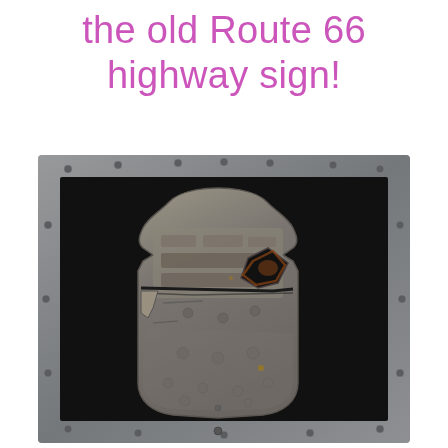the old Route 66 highway sign!
[Figure (photo): A heavily weathered and damaged old Route 66 highway sign in shield shape, mounted inside a rustic metal frame with rivets, displayed against a dark background. The sign is cracked, corroded, and partially broken.]